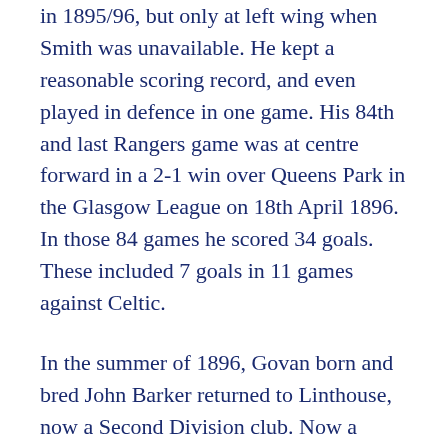in 1895/96, but only at left wing when Smith was unavailable. He kept a reasonable scoring record, and even played in defence in one game. His 84th and last Rangers game was at centre forward in a 2-1 win over Queens Park in the Glasgow League on 18th April 1896. In those 84 games he scored 34 goals. These included 7 goals in 11 games against Celtic.
In the summer of 1896, Govan born and bred John Barker returned to Linthouse, now a Second Division club. Now a qualified draughtsman, he balanced his football with his job at the shipyard. Despite Linthouse finishing bottom of the table, he scored 13 goals in 18 intermittent